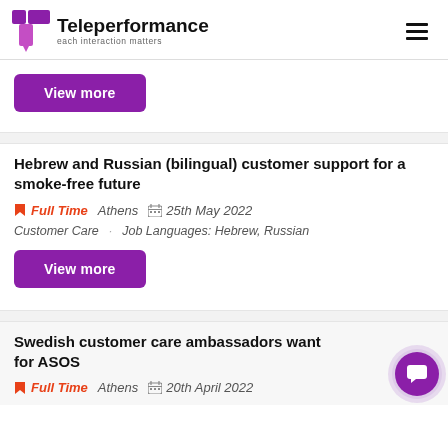Teleperformance — each interaction matters
View more
Hebrew and Russian (bilingual) customer support for a smoke-free future
Full Time   Athens   25th May 2022
Customer Care   Job Languages: Hebrew, Russian
View more
Swedish customer care ambassadors wanted for ASOS
Full Time   Athens   20th April 2022